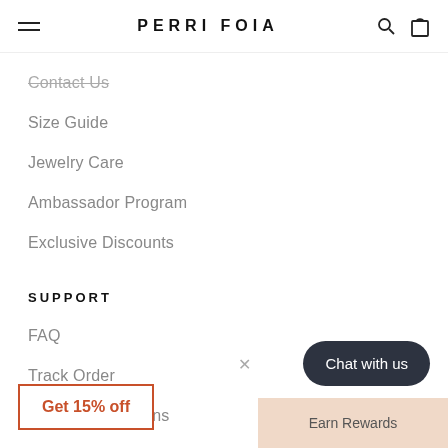PERRI FOIA
Contact Us
Size Guide
Jewelry Care
Ambassador Program
Exclusive Discounts
SUPPORT
FAQ
Track Order
Shipping & Returns
Warranty & Exchange
Get 15% off
Chat with us
Earn Rewards